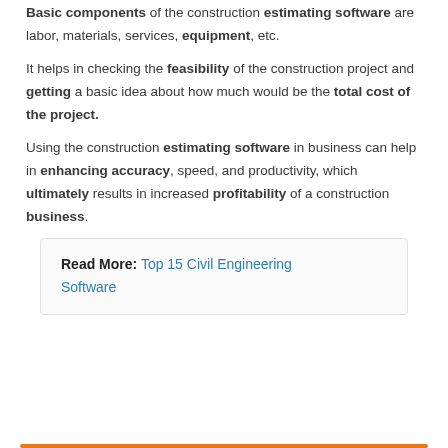Basic components of the construction estimating software are labor, materials, services, equipment, etc.
It helps in checking the feasibility of the construction project and getting a basic idea about how much would be the total cost of the project.
Using the construction estimating software in business can help in enhancing accuracy, speed, and productivity, which ultimately results in increased profitability of a construction business.
Read More: Top 15 Civil Engineering Software